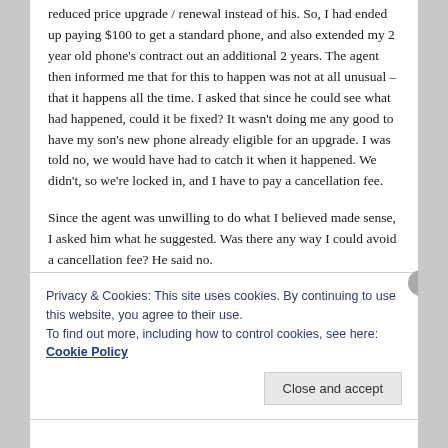reduced price upgrade / renewal instead of his. So, I had ended up paying $100 to get a standard phone, and also extended my 2 year old phone's contract out an additional 2 years. The agent then informed me that for this to happen was not at all unusual – that it happens all the time. I asked that since he could see what had happened, could it be fixed? It wasn't doing me any good to have my son's new phone already eligible for an upgrade. I was told no, we would have had to catch it when it happened. We didn't, so we're locked in, and I have to pay a cancellation fee.
Since the agent was unwilling to do what I believed made sense, I asked him what he suggested. Was there any way I could avoid a cancellation fee? He said no.
Privacy & Cookies: This site uses cookies. By continuing to use this website, you agree to their use.
To find out more, including how to control cookies, see here: Cookie Policy